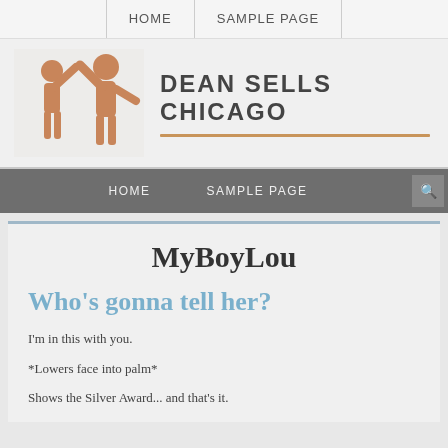HOME   SAMPLE PAGE
[Figure (logo): Dean Sells Chicago logo with two orange human figures raising arms together, site title DEAN SELLS CHICAGO in bold dark letters with orange underline]
HOME   SAMPLE PAGE
MyBoyLou
Who's gonna tell her?
I'm in this with you.
*Lowers face into palm*
Shows the Silver Award... and that's it.